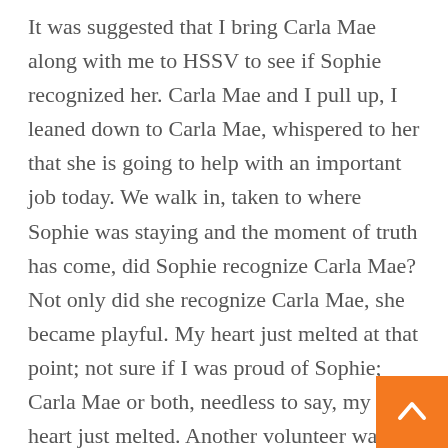It was suggested that I bring Carla Mae along with me to HSSV to see if Sophie recognized her. Carla Mae and I pull up, I leaned down to Carla Mae, whispered to her that she is going to help with an important job today. We walk in, taken to where Sophie was staying and the moment of truth has come, did Sophie recognize Carla Mae? Not only did she recognize Carla Mae, she became playful. My heart just melted at that point; not sure if I was proud of Sophie; Carla Mae or both, needless to say, my heart just melted. Another volunteer was there, her and I sat on the blanket for the hour, allowing the dogs to settle. Sophie throughout the visit began to relax; she was beginning to hold her tail high! Sophie at one point came over to me, put her nose to mind and gave me a “nose kiss” (no licking, just nose to nose); the volunteer stated it was if Sophie recognized too and just said “thank you”. What a moment that I will